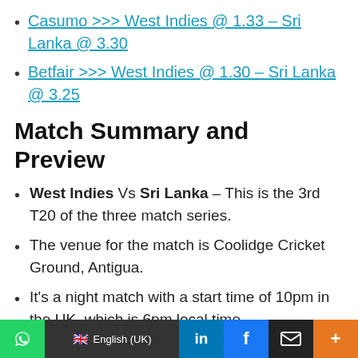Casumo >>> West Indies @ 1.33 – Sri Lanka @ 3.30
Betfair >>> West Indies @ 1.30 – Sri Lanka @ 3.25
Match Summary and Preview
West Indies Vs Sri Lanka – This is the 3rd T20 of the three match series.
The venue for the match is Coolidge Cricket Ground, Antigua.
It's a night match with a start time of 10pm in the UK, which is 6pm local time.
Both sides have won one apiece, making this the deciding match to see who takes the honours and